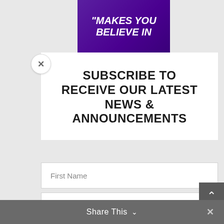[Figure (screenshot): Purple banner with white italic bold text reading "MAKES YOU BELIEVE IN"]
SUBSCRIBE TO RECEIVE OUR LATEST NEWS & ANNOUNCEMENTS
First Name
Last Name
Email
SUBSCRIBE!
Share This
×